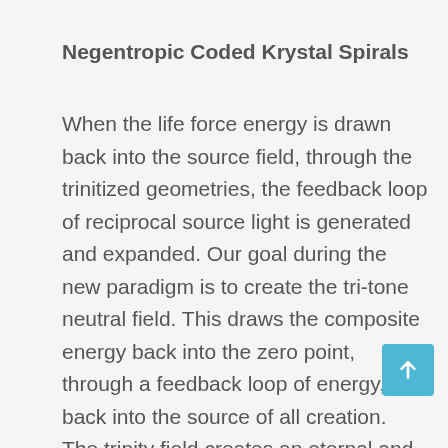Negentropic Coded Krystal Spirals
When the life force energy is drawn back into the source field, through the trinitized geometries, the feedback loop of reciprocal source light is generated and expanded. Our goal during the new paradigm is to create the tri-tone neutral field. This draws the composite energy back into the zero point, through a feedback loop of energy, back into the source of all creation. The trinity field creates an eternal and perpetual supply of life force that regenerates the bodies by restoring the energy loss, and eventually expanding consciousness. The Krystal Spiral has the potential to dissolve artificial structures that have attached or enmeshed with